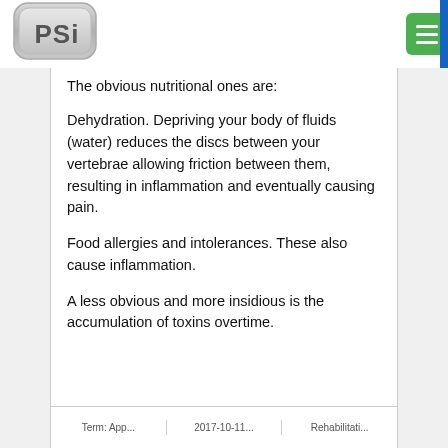[Figure (logo): PSI logo — rounded rectangle badge with 'PSi' text in metallic style]
The obvious nutritional ones are:
Dehydration.  Depriving your body of fluids (water) reduces the discs between your vertebrae allowing friction between them, resulting in inflammation and eventually causing pain.
Food allergies and intolerances.  These also cause inflammation.
A less obvious and more insidious is the accumulation of toxins overtime.